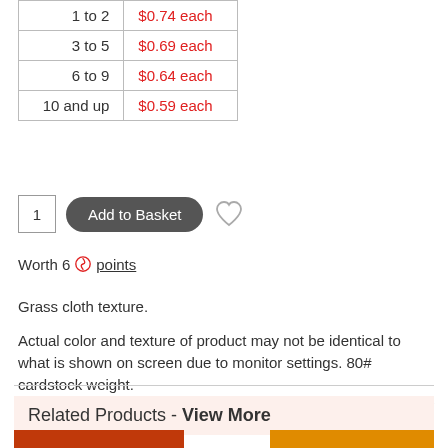| Quantity | Price |
| --- | --- |
| 1 to 2 | $0.74 each |
| 3 to 5 | $0.69 each |
| 6 to 9 | $0.64 each |
| 10 and up | $0.59 each |
[Figure (other): Add to Basket button with quantity box (showing 1) and heart/wishlist icon]
Worth 6 points
Grass cloth texture.
Actual color and texture of product may not be identical to what is shown on screen due to monitor settings. 80# cardstock weight.
Have Any Questions?
Related Products - View More
[Figure (photo): Related product thumbnail (red/orange color swatch)]
[Figure (photo): Related product thumbnail (orange/amber color swatch)]